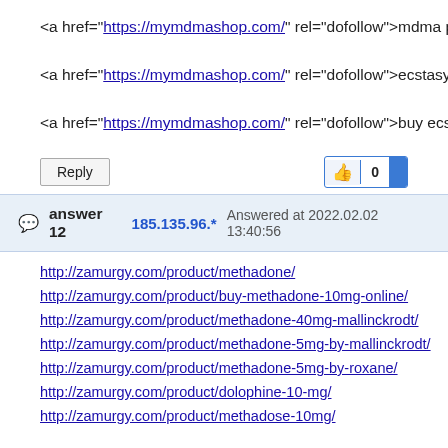<a href="https://mymdmashop.com/" rel="dofollow">mdma pills for
<a href="https://mymdmashop.com/" rel="dofollow">ecstasy for sal
<a href="https://mymdmashop.com/" rel="dofollow">buy ecstasy</a
Reply | 👍 0
answer 12   185.135.96.*   Answered at 2022.02.02 13:40:56
http://zamurgy.com/product/methadone/
http://zamurgy.com/product/buy-methadone-10mg-online/
http://zamurgy.com/product/methadone-40mg-mallinckrodt/
http://zamurgy.com/product/methadone-5mg-by-mallinckrodt/
http://zamurgy.com/product/methadone-5mg-by-roxane/
http://zamurgy.com/product/dolophine-10-mg/
http://zamurgy.com/product/methadose-10mg/